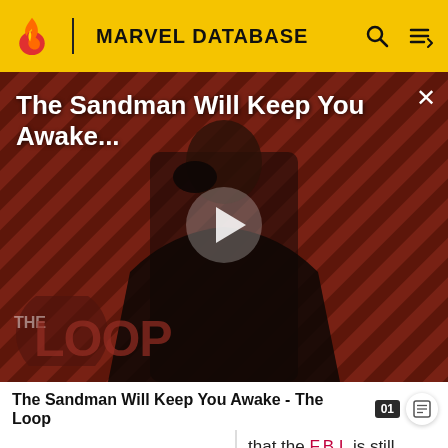MARVEL DATABASE
[Figure (screenshot): Video thumbnail showing a figure in a dark cape against a striped dark red background, with 'The Loop' logo overlay. Play button in center. Title 'The Sandman Will Keep You Awake...' overlaid at top.]
The Sandman Will Keep You Awake - The Loop
that the F.B.I. is still following some clues about Teresa Durand and is not agreeing